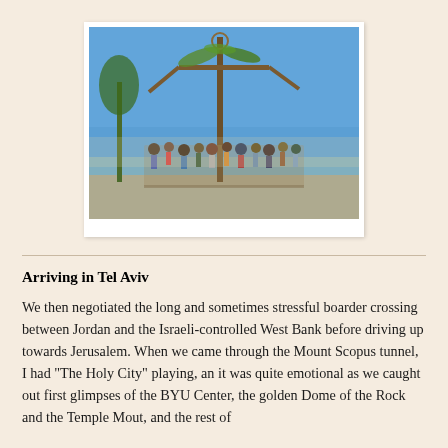[Figure (photo): Group of tourists gathered outdoors around a tall palm tree or cross-shaped structure under a clear blue sky, with desert landscape in the background.]
Arriving in Tel Aviv
We then negotiated the long and sometimes stressful boarder crossing between Jordan and the Israeli-controlled West Bank before driving up towards Jerusalem. When we came through the Mount Scopus tunnel, I had "The Holy City" playing, an it was quite emotional as we caught out first glimpses of the BYU Center, the golden Dome of the Rock and the Temple Mout, and the rest of the...